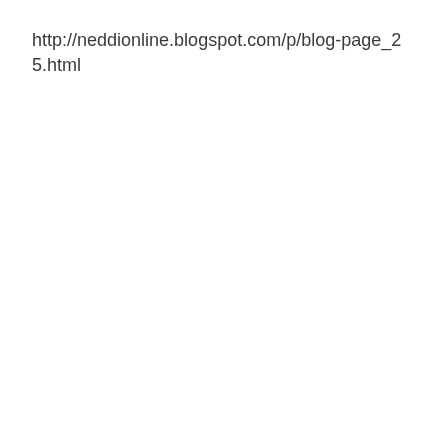http://neddionline.blogspot.com/p/blog-page_25.html